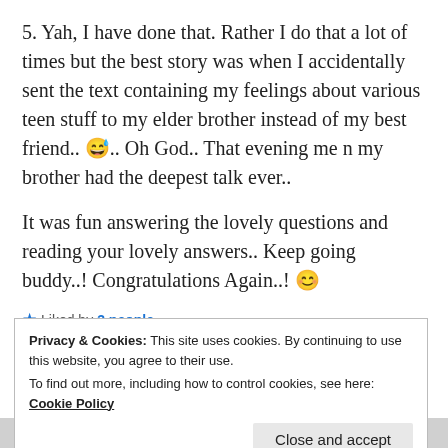5. Yah, I have done that. Rather I do that a lot of times but the best story was when I accidentally sent the text containing my feelings about various teen stuff to my elder brother instead of my best friend.. 😅.. Oh God.. That evening me n my brother had the deepest talk ever..
It was fun answering the lovely questions and reading your lovely answers.. Keep going buddy..! Congratulations Again..! 😊
★ Liked by 3 people
Privacy & Cookies: This site uses cookies. By continuing to use this website, you agree to their use. To find out more, including how to control cookies, see here: Cookie Policy
Close and accept
Advertisements